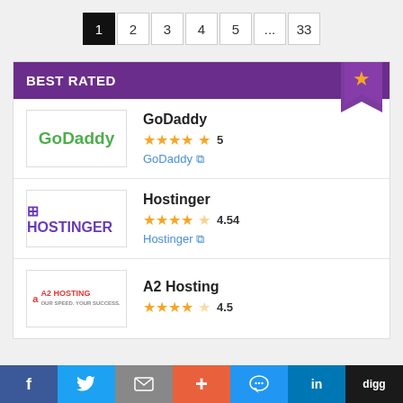Pagination: 1 (active), 2, 3, 4, 5, ..., 33
BEST RATED
GoDaddy — 5 stars (rating: 5)
Hostinger — 4.54 stars (rating: 4.54)
A2 Hosting — 4.5 stars (rating: 4.5)
Social share bar: Facebook, Twitter, Email, +, Messenger, LinkedIn, Digg